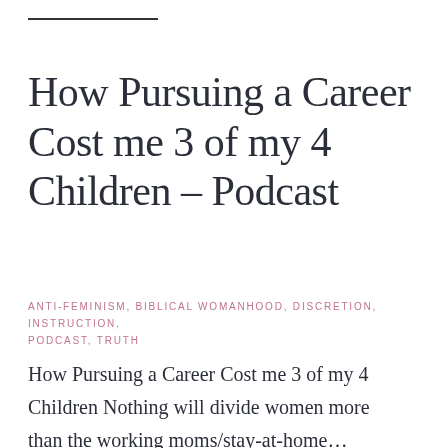How Pursuing a Career Cost me 3 of my 4 Children – Podcast
ANTI-FEMINISM, BIBLICAL WOMANHOOD, DISCRETION, INSTRUCTION, PODCAST, TRUTH
How Pursuing a Career Cost me 3 of my 4 Children Nothing will divide women more than the working moms/stay-at-home...